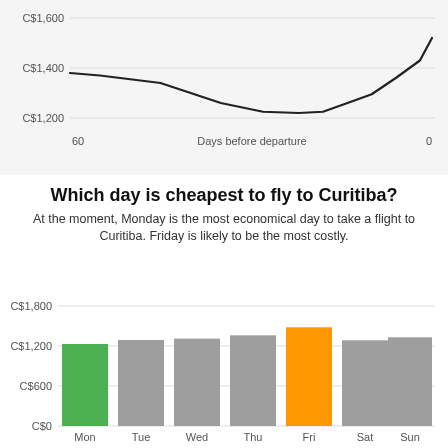[Figure (continuous-plot): Line chart showing price (C$1,200–C$1,600) vs Days before departure (60 to 0). Price starts ~C$1,380 at 60 days, dips to ~C$1,220 around 30-25 days, rises to ~C$1,300 around 15 days, then climbs sharply to ~C$1,520 near 0 days.]
Which day is cheapest to fly to Curitiba?
At the moment, Monday is the most economical day to take a flight to Curitiba. Friday is likely to be the most costly.
[Figure (bar-chart): Cheapest day to fly to Curitiba]